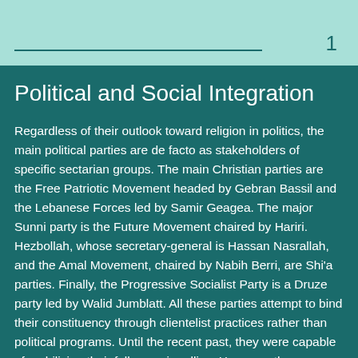1
Political and Social Integration
Regardless of their outlook toward religion in politics, the main political parties are de facto as stakeholders of specific sectarian groups. The main Christian parties are the Free Patriotic Movement headed by Gebran Bassil and the Lebanese Forces led by Samir Geagea. The major Sunni party is the Future Movement chaired by Hariri. Hezbollah, whose secretary-general is Hassan Nasrallah, and the Amal Movement, chaired by Nabih Berri, are Shi'a parties. Finally, the Progressive Socialist Party is a Druze party led by Walid Jumblatt. All these parties attempt to bind their constituency through clientelist practices rather than political programs. Until the recent past, they were capable of mobilizing their followers in rallies. However, the established political parties were de facto banned from the 2019 – 2020 Lebanese protests. The slogans of the demonstrators such as “All of them means all of them” or simply “Revolution” were explicitly